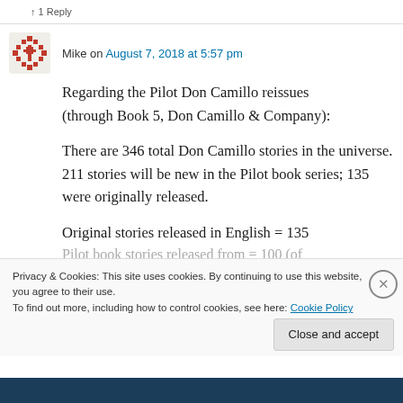↑ 1 Reply
Mike on August 7, 2018 at 5:57 pm
Regarding the Pilot Don Camillo reissues (through Book 5, Don Camillo & Company):

There are 346 total Don Camillo stories in the universe. 211 stories will be new in the Pilot book series; 135 were originally released.

Original stories released in English = 135
Privacy & Cookies: This site uses cookies. By continuing to use this website, you agree to their use.
To find out more, including how to control cookies, see here: Cookie Policy
Close and accept